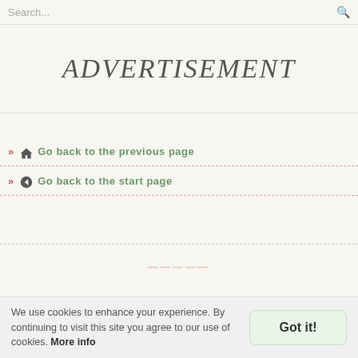Search...
ADVERTISEMENT
» 🏠 Go back to the previous page
» ◀ Go back to the start page
We use cookies to enhance your experience. By continuing to visit this site you agree to our use of cookies. More info
Got it!